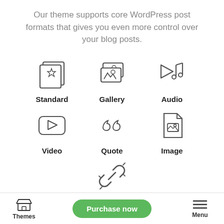Our theme supports core WordPress post formats that gives you even more control over your blog posts.
[Figure (infographic): Six icons arranged in a 3×2 grid plus one centered below: Standard (stacked pages with star), Gallery (landscape photos), Audio (play button with music note), Video (rounded rectangle with play button), Quote (quotation marks), Image (document with image), Link (broken chain link). Each icon is labeled below it.]
[Figure (screenshot): Partial browser bar with three empty circles (window control dots) on the left and a blurred gray rectangle on the right.]
Themes   Purchase now   Menu